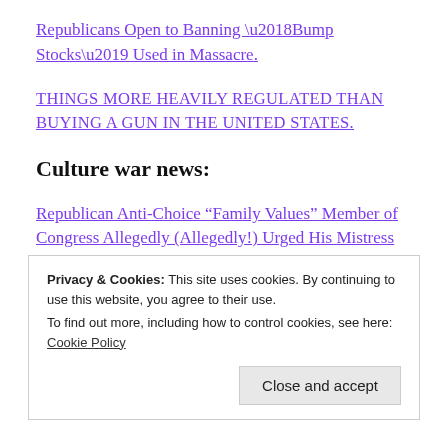Republicans Open to Banning ‘Bump Stocks’ Used in Massacre.
THINGS MORE HEAVILY REGULATED THAN BUYING A GUN IN THE UNITED STATES.
Culture war news:
Republican Anti-Choice “Family Values” Member of Congress Allegedly (Allegedly!) Urged His Mistress To Get an Abortion.
Privacy & Cookies: This site uses cookies. By continuing to use this website, you agree to their use. To find out more, including how to control cookies, see here: Cookie Policy
Close and accept